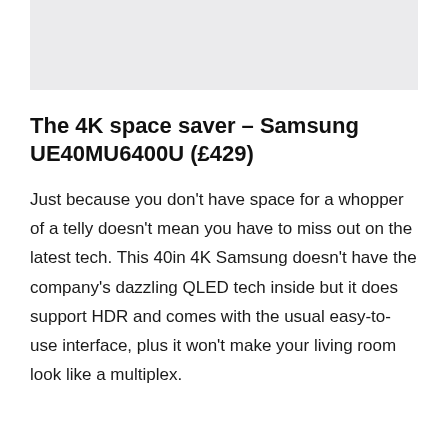[Figure (photo): Light grey rectangular image placeholder at the top of the page]
The 4K space saver – Samsung UE40MU6400U (£429)
Just because you don't have space for a whopper of a telly doesn't mean you have to miss out on the latest tech. This 40in 4K Samsung doesn't have the company's dazzling QLED tech inside but it does support HDR and comes with the usual easy-to-use interface, plus it won't make your living room look like a multiplex.